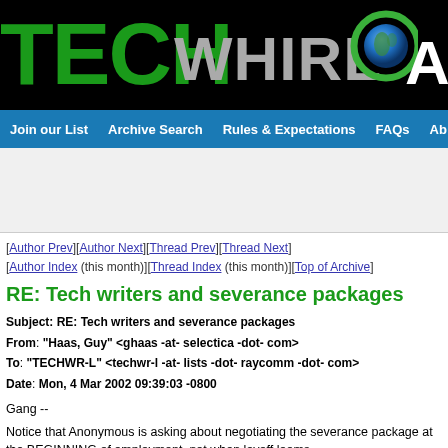[Figure (logo): TechWhirl Archive website header banner with TECH in green bold text, WHIRL in gray, globe icon, and Ar in white on black background]
Join our List | Archive Search | Rules & Expectations | FAQs | Ab
[Author Prev][Author Next][Thread Prev][Thread Next]
[Author Index (this month)][Thread Index (this month)][Top of Archive]
RE: Tech writers and severance packages
| Field | Value |
| --- | --- |
| Subject: | RE: Tech writers and severance packages |
| From: | "Haas, Guy" <ghaas -at- selectica -dot- com> |
| To: | "TECHWR-L" <techwr-l -at- lists -dot- raycomm -dot- com> |
| Date: | Mon, 4 Mar 2002 09:39:03 -0800 |
Gang --
Notice that Anonymous is asking about negotiating the severance package at the BEGINNING of employment, not when layoff looms.